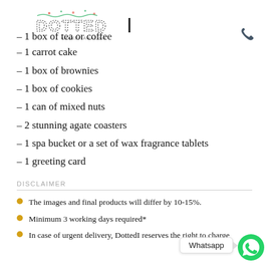[Figure (logo): DOTTED branded logo with dotted font letters and #MAKEITAMAZING tagline]
- 1 box of tea or coffee
- 1 carrot cake
- 1 box of brownies
- 1 box of cookies
- 1 can of mixed nuts
- 2 stunning agate coasters
- 1 spa bucket or a set of wax fragrance tablets
- 1 greeting card
DISCLAIMER
The images and final products will differ by 10-15%.
Minimum 3 working days required*
In case of urgent delivery, DottedI reserves the right to charge